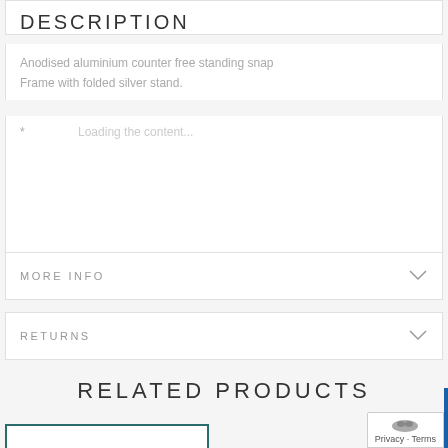DESCRIPTION
Anodised aluminium counter free standing snap Frame with folded silver stand.
* Loading the content...
MORE INFO
RETURNS
RELATED PRODUCTS